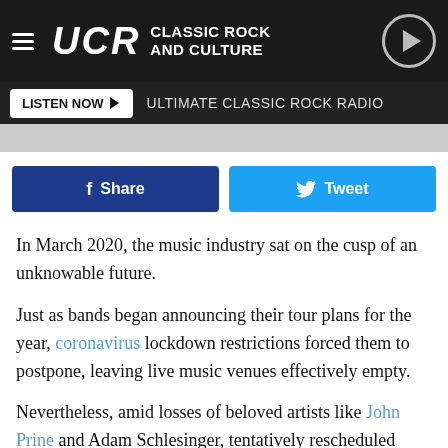UCR CLASSIC ROCK AND CULTURE
LISTEN NOW  ULTIMATE CLASSIC ROCK RADIO
[Figure (other): Social share buttons: Facebook Share button (dark blue) and Twitter Tweet button (light blue)]
In March 2020, the music industry sat on the cusp of an unknowable future.
Just as bands began announcing their tour plans for the year, coronavirus lockdown restrictions forced them to postpone, leaving live music venues effectively empty.
Nevertheless, amid losses of beloved artists like John Prine and Adam Schlesinger, tentatively rescheduled dates and the firing of longtime Journey members Ross Valory and Steve Smith, March also saw the arrival of various new-album